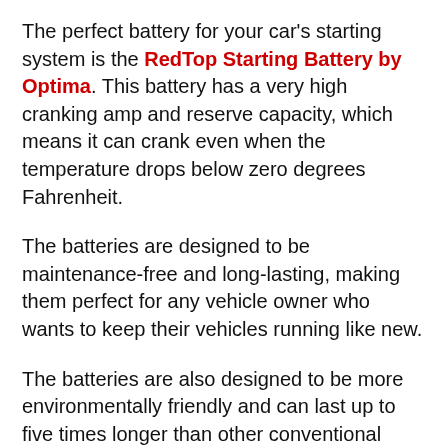The perfect battery for your car's starting system is the RedTop Starting Battery by Optima. This battery has a very high cranking amp and reserve capacity, which means it can crank even when the temperature drops below zero degrees Fahrenheit.
The batteries are designed to be maintenance-free and long-lasting, making them perfect for any vehicle owner who wants to keep their vehicles running like new.
The batteries are also designed to be more environmentally friendly and can last up to five times longer than other conventional ones. So if you want a battery worth your money, get the RedTop Starting Battery by Optima today!
The RedTop Starting Battery by Optima is an excellent